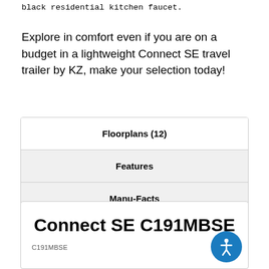black residential kitchen faucet.
Explore in comfort even if you are on a budget in a lightweight Connect SE travel trailer by KZ, make your selection today!
| Floorplans (12) |
| Features |
| Manu-Facts |
Connect SE C191MBSE
C191MBSE